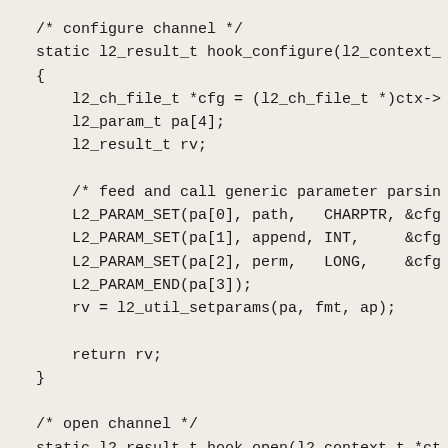/* configure channel */
static l2_result_t hook_configure(l2_context_
{
    l2_ch_file_t *cfg = (l2_ch_file_t *)ctx->
    l2_param_t pa[4];
    l2_result_t rv;

    /* feed and call generic parameter parsin
    L2_PARAM_SET(pa[0], path,   CHARPTR, &cfg
    L2_PARAM_SET(pa[1], append, INT,     &cfg
    L2_PARAM_SET(pa[2], perm,   LONG,    &cfg
    L2_PARAM_END(pa[3]);
    rv = l2_util_setparams(pa, fmt, ap);

    return rv;
}

/* open channel */
static l2_result_t hook_open(l2_context_t *ct
{
    l2_ch_file_t *cfg = (l2_ch_file_t *)ctx->
    int mode;

    /* make sure a path was set */